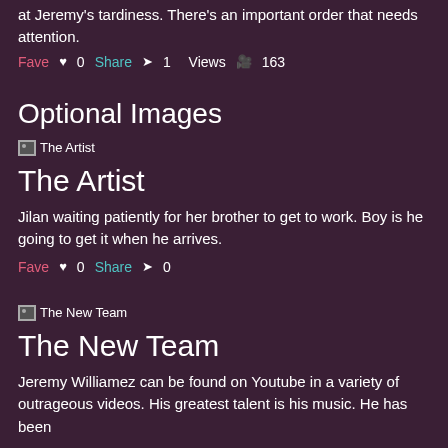at Jeremy's tardiness. There's an important order that needs attention.
Fave ♥ 0   Share ➤ 1   Views 🎬 163
Optional Images
[Figure (photo): Broken image placeholder labeled 'The Artist']
The Artist
Jilan waiting patiently for her brother to get to work. Boy is he going to get it when he arrives.
Fave ♥ 0   Share ➤ 0
[Figure (photo): Broken image placeholder labeled 'The New Team']
The New Team
Jeremy Williamez can be found on Youtube in a variety of outrageous videos. His greatest talent is his music. He has been